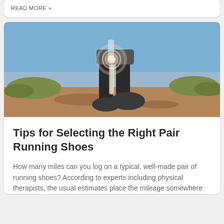READ MORE »
[Figure (photo): Close-up of a runner's legs on a dirt trail with blue sky background. A glowing X-ray overlay shows the knee joint and bones illuminated in white/orange light. The runner wears dark running shoes.]
Tips for Selecting the Right Pair Running Shoes
How many miles can you log on a typical, well-made pair of running shoes? According to experts including physical therapists, the usual estimates place the mileage somewhere